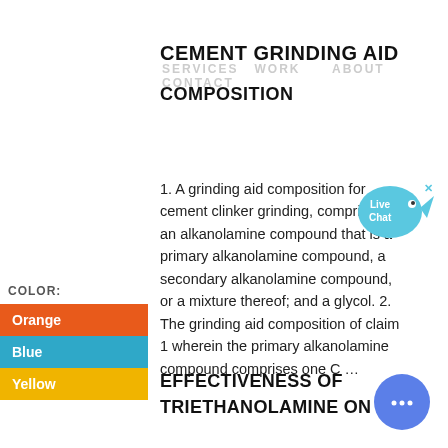CEMENT GRINDING AID
SERVICES  WORK  ABOUT  CONTACT
COMPOSITION
1. A grinding aid composition for cement clinker grinding, comprising: an alkanolamine compound that is a primary alkanolamine compound, a secondary alkanolamine compound, or a mixture thereof; and a glycol. 2. The grinding aid composition of claim 1 wherein the primary alkanolamine compound comprises one C …
COLOR:
Orange
Blue
Yellow
EFFECTIVENESS OF TRIETHANOLAMINE ON …